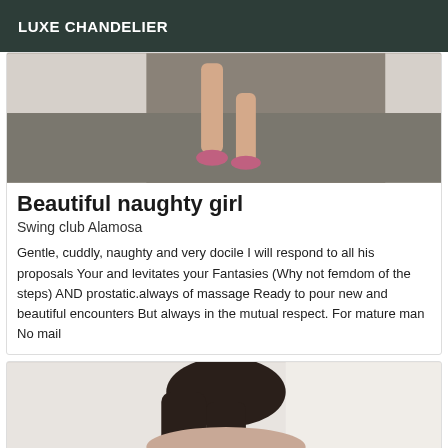LUXE CHANDELIER
[Figure (photo): Photo showing legs of a person on a gray carpet floor, wearing pink shoes, taken from behind]
Beautiful naughty girl
Swing club Alamosa
Gentle, cuddly, naughty and very docile I will respond to all his proposals Your and levitates your Fantasies (Why not femdom of the steps) AND prostatic.always of massage Ready to pour new and beautiful encounters But always in the mutual respect. For mature man No mail
[Figure (photo): Photo of a woman with long dark hair, partial view from behind, light background]